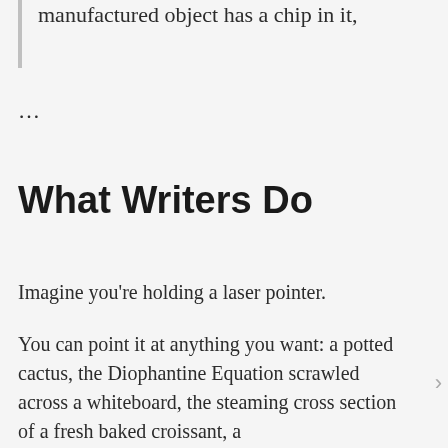manufactured object has a chip in it,
...
What Writers Do
Imagine you're holding a laser pointer.
You can point it at anything you want: a potted cactus, the Diophantine Equation scrawled across a whiteboard, the steaming cross section of a fresh baked croissant, a